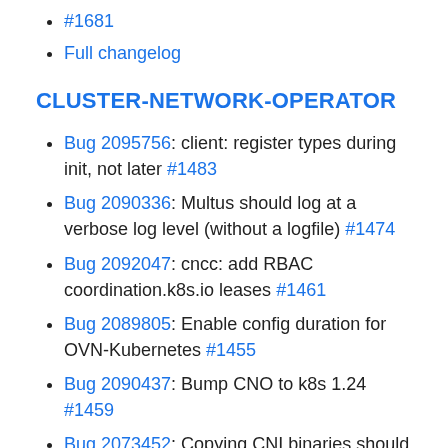#1681
Full changelog
CLUSTER-NETWORK-OPERATOR
Bug 2095756: client: register types during init, not later #1483
Bug 2090336: Multus should log at a verbose log level (without a logfile) #1474
Bug 2092047: cncc: add RBAC coordination.k8s.io leases #1461
Bug 2089805: Enable config duration for OVN-Kubernetes #1455
Bug 2090437: Bump CNO to k8s 1.24 #1459
Bug 2073452: Copying CNI binaries should be an atomic operation. #1472
Bug 2092495: ovn: use up to 4 northd threads in non-SNO clusters #1471